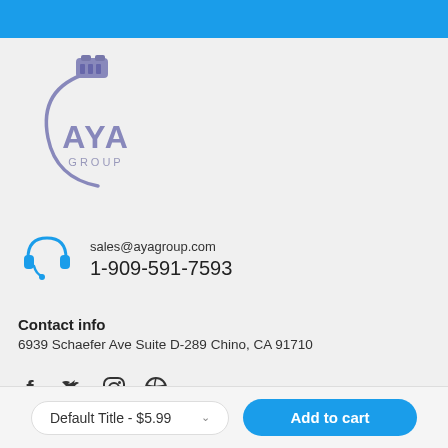[Figure (logo): AYA Group logo with USB cable graphic and stylized text]
[Figure (illustration): Blue headset/customer support icon]
sales@ayagroup.com
1-909-591-7593
Contact info
6939 Schaefer Ave Suite D-289 Chino, CA 91710
[Figure (illustration): Social media icons: Facebook, Twitter, Instagram, Pinterest]
Default Title - $5.99
Add to cart